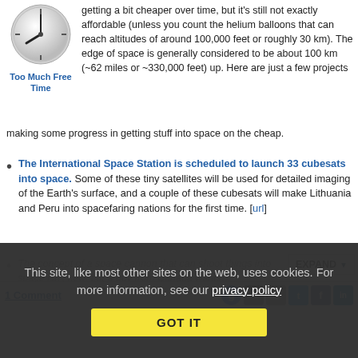[Figure (illustration): Clock/time icon — circular gray clock face with hands]
Too Much Free Time
getting a bit cheaper over time, but it's still not exactly affordable (unless you count the helium balloons that can reach altitudes of around 100,000 feet or roughly 30 km). The edge of space is generally considered to be about 100 km (~62 miles or ~330,000 feet) up. Here are just a few projects making some progress in getting stuff into space on the cheap.
The International Space Station is scheduled to launch 33 cubesats into space. Some of these tiny satellites will be used for detailed imaging of the Earth's surface, and a couple of these cubesats will make Lithuania and Peru into spacefaring nations for the first time. [url]
The concept of a space cannon that can shoot things into space isn't new, but a guy from Canada wants…
1 Comment
This site, like most other sites on the web, uses cookies. For more information, see our privacy policy
GOT IT